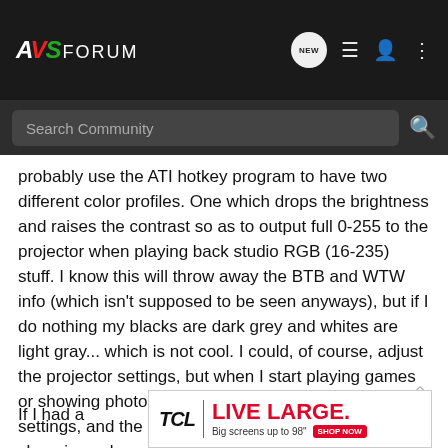AVS FORUM — navigation bar with search
probably use the ATI hotkey program to have two different color profiles. One which drops the brightness and raises the contrast so as to output full 0-255 to the projector when playing back studio RGB (16-235) stuff. I know this will throw away the BTB and WTW info (which isn't supposed to be seen anyways), but if I do nothing my blacks are dark grey and whites are light gray... which is not cool. I could, of course, adjust the projector settings, but when I start playing games or showing photos I will have to change the projector settings, and the projector doesn't have a hotkey for changing color settings like the computer does.
If I had a ... em :-(
[Figure (other): TCL advertisement banner: TCL | LIVE LARGE. Big screens up to 98" SHOP NOW]